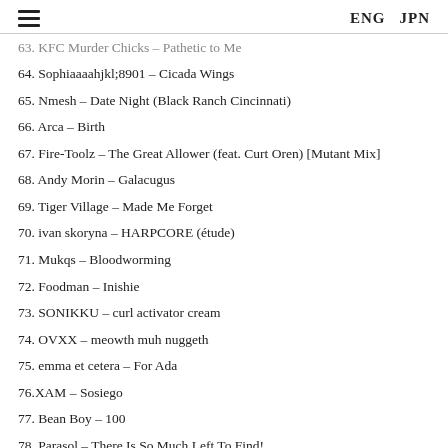ENG  JPN
63. KFC Murder Chicks – Pathetic to Me
64. Sophiaaaahjkl;8901 – Cicada Wings
65. Nmesh – Date Night (Black Ranch Cincinnati)
66. Arca – Birth
67. Fire-Toolz – The Great Allower (feat. Curt Oren) [Mutant Mix]
68. Andy Morin – Galacugus
69. Tiger Village – Made Me Forget
70. ivan skoryna – HARPCORE (étude)
71. Mukqs – Bloodworming
72. Foodman – Inishie
73. SONIKKU – curl activator cream
74. OVXX – meowth muh nuggeth
75. emma et cetera – For Ada
76.XAM – Sosiego
77. Bean Boy – 100
78. Parasol – There Is So Much Left To Find!